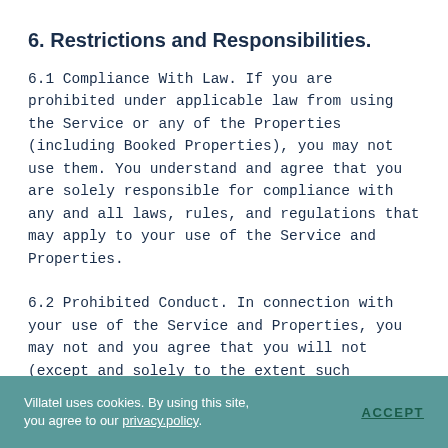6. Restrictions and Responsibilities.
6.1 Compliance With Law. If you are prohibited under applicable law from using the Service or any of the Properties (including Booked Properties), you may not use them. You understand and agree that you are solely responsible for compliance with any and all laws, rules, and regulations that may apply to your use of the Service and Properties.
6.2 Prohibited Conduct. In connection with your use of the Service and Properties, you may not and you agree that you will not (except and solely to the extent such restriction is impermissible under applicable law):
Villatel uses cookies. By using this site, you agree to our privacy.policy. ACCEPT